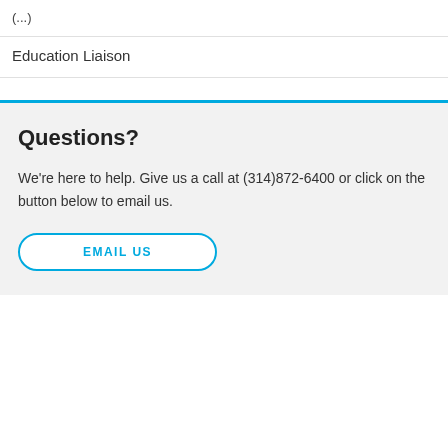(...)
Education Liaison
Questions?
We're here to help. Give us a call at (314)872-6400 or click on the button below to email us.
EMAIL US